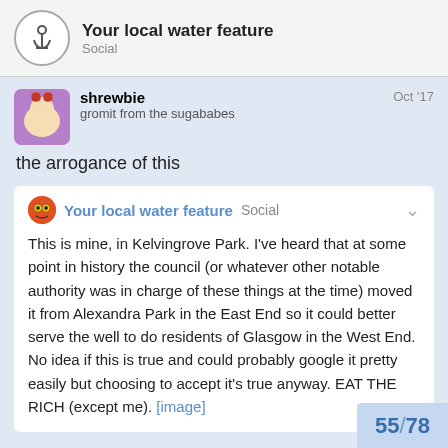Your local water feature — Social
shrewbie
gromit from the sugababes
Oct '17
the arrogance of this
Your local water feature  Social
This is mine, in Kelvingrove Park. I've heard that at some point in history the council (or whatever other notable authority was in charge of these things at the time) moved it from Alexandra Park in the East End so it could better serve the well to do residents of Glasgow in the West End. No idea if this is true and could probably google it pretty easily but choosing to accept it's true anyway. EAT THE RICH (except me). [image]
55 / 78